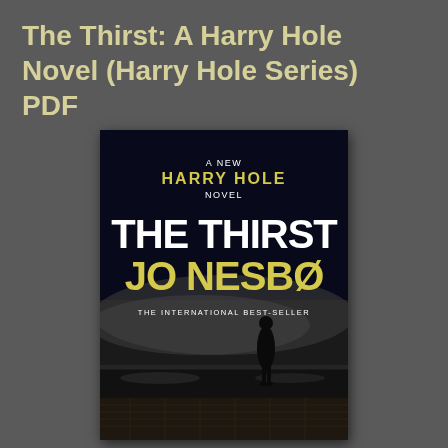The Thirst: A Harry Hole Novel (Harry Hole Series) PDF
[Figure (illustration): Book cover of 'The Thirst' by Jo Nesbø. Black background with 'A NEW HARRY HOLE NOVEL' at top in white and yellow text. Large white bold text 'THE THIRST' and large yellow bold text 'JO NESBØ'. Below: 'THE INTERNATIONAL BEST-SELLER' in white. Background shows a black-and-white foggy waterfront scene with a lone silhouette figure standing on a pier.]